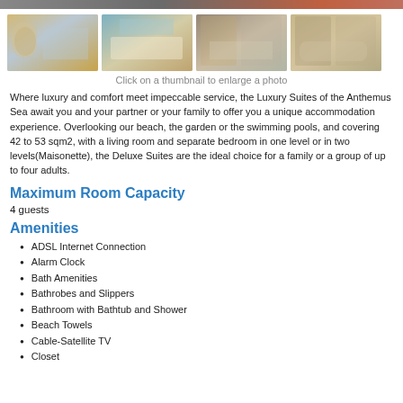[Figure (photo): Top decorative bar with hotel room images (cropped strip)]
[Figure (photo): Four thumbnail photos of hotel luxury suite rooms and bathrooms]
Click on a thumbnail to enlarge a photo
Where luxury and comfort meet impeccable service, the Luxury Suites of the Anthemus Sea await you and your partner or your family to offer you a unique accommodation experience. Overlooking our beach, the garden or the swimming pools, and covering 42 to 53 sqm2, with a living room and separate bedroom in one level or in two levels(Maisonette), the Deluxe Suites are the ideal choice for a family or a group of up to four adults.
Maximum Room Capacity
4 guests
Amenities
ADSL Internet Connection
Alarm Clock
Bath Amenities
Bathrobes and Slippers
Bathroom with Bathtub and Shower
Beach Towels
Cable-Satellite TV
Closet